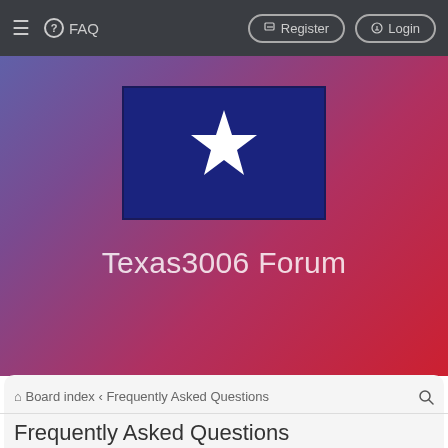≡  FAQ  Register  Login
[Figure (illustration): Texas Lone Star flag (dark blue field with a single white five-pointed star) displayed as banner image with gradient background (purple to red). Below the flag the text 'Texas3006 Forum' appears in light white lettering.]
Board index › Frequently Asked Questions
Frequently Asked Questions